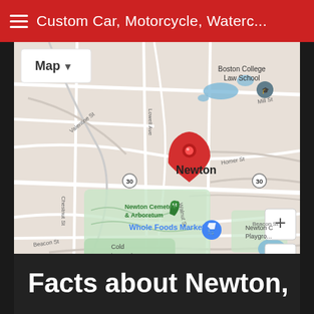Custom Car, Motorcycle, Waterc...
[Figure (map): Google Maps showing Newton, MA area with red location pin over Newton center. Shows surrounding streets including Valentine St, Lowell Ave, Walnut St, Homer St, Mill St, Beacon St, Chestnut St. Points of interest include Boston College Law School, Newton Cemetery & Arboretum, Whole Foods Market, Cold Spring Park, Newton Center Playground. Map data ©2022 Google.]
Facts about Newton,